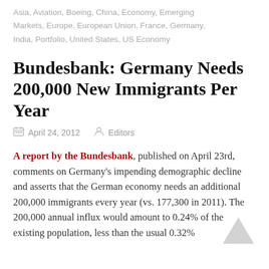Asia, Aviation, Boeing, China, Economy, Emerging Markets, Europe, European Union, France, Germany, India, Portfolio, United States, US Economy
Bundesbank: Germany Needs 200,000 New Immigrants Per Year
April 24, 2012   Editors
A report by the Bundesbank, published on April 23rd, comments on Germany's impending demographic decline and asserts that the German economy needs an additional 200,000 immigrants every year (vs. 177,300 in 2011). The 200,000 annual influx would amount to 0.24% of the existing population, less than the usual 0.32%